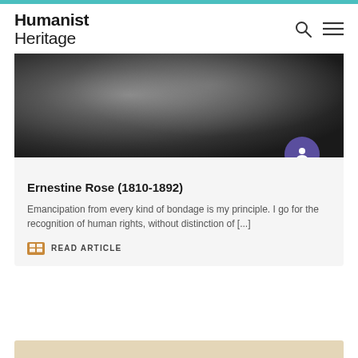Humanist Heritage
[Figure (photo): Black and white historical photograph, partially visible, dark tones]
Ernestine Rose (1810-1892)
Emancipation from every kind of bondage is my principle. I go for the recognition of human rights, without distinction of [...]
READ ARTICLE